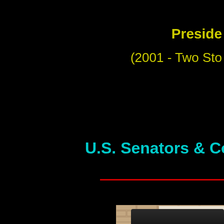Preside
(2001 - Two Sto
U.S. Senators & Con
[Figure (photo): A man in a dark suit standing in front of a tan/beige brick wall with a framed picture hanging on the wall behind him. Only the upper portion of the man is visible.]